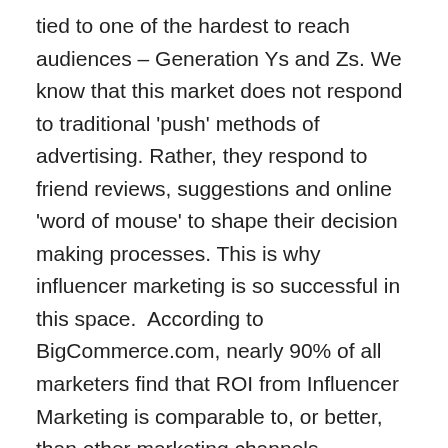tied to one of the hardest to reach audiences – Generation Ys and Zs. We know that this market does not respond to traditional 'push' methods of advertising. Rather, they respond to friend reviews, suggestions and online 'word of mouse' to shape their decision making processes. This is why influencer marketing is so successful in this space.  According to BigCommerce.com, nearly 90% of all marketers find that ROI from Influencer Marketing is comparable to, or better, than other marketing channels.
Its commonplace to see gaming related brands like Xbox, Playstation, Razer etc dominate the advertising space to this market on platforms like YouTube and Twitch but more recently the likes of Red Bull and Gillette have entered this space on an international scale.
“Sure, eSports in South Africa is currently tiny in comparison to the global market but R3.6 billion in South Africa is nothing to